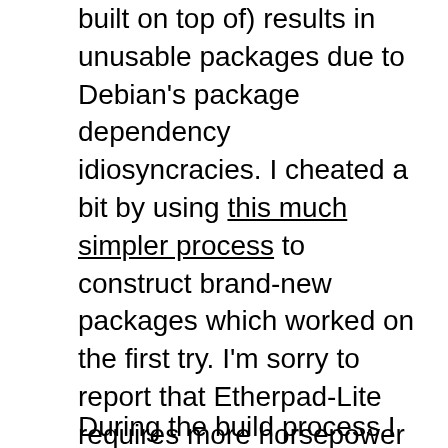built on top of) results in unusable packages due to Debian's package dependency idiosyncracies. I cheated a bit by using this much simpler process to construct brand-new packages which worked on the first try. I'm sorry to report that Etherpad-Lite requires more horsepower than the RaspberryPi has under its hood, and I had to disable it so there would be a workable system. Our Groundstation package seems to work just fine, though. I added a desktop background that would be immediately recognizable to stucks and printed out the best version of the lunchbox graphic I could find by Eri-Tchi (which lead to the discovery that the ink tanks in my printer are almost dry).
During the build process I had to rethink a few